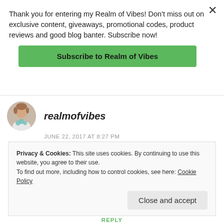Thank you for entering my Realm of Vibes! Don't miss out on exclusive content, giveaways, promotional codes, product reviews and good blog banter. Subscribe now!
Subscribe to Realm of Vibes
realmofvibes
JUNE 22, 2017 AT 8:27 PM
Hopefully you can visit one day; and thank you for commenting on my photography —
Privacy & Cookies: This site uses cookies. By continuing to use this website, you agree to their use.
To find out more, including how to control cookies, see here: Cookie Policy
Close and accept
REPLY